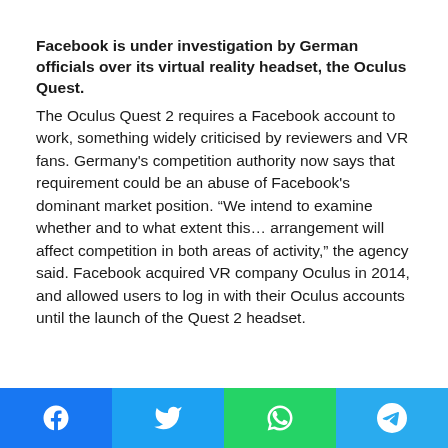Facebook is under investigation by German officials over its virtual reality headset, the Oculus Quest.
The Oculus Quest 2 requires a Facebook account to work, something widely criticised by reviewers and VR fans. Germany's competition authority now says that requirement could be an abuse of Facebook's dominant market position. “We intend to examine whether and to what extent this… arrangement will affect competition in both areas of activity,” the agency said. Facebook acquired VR company Oculus in 2014, and allowed users to log in with their Oculus accounts until the launch of the Quest 2 headset.